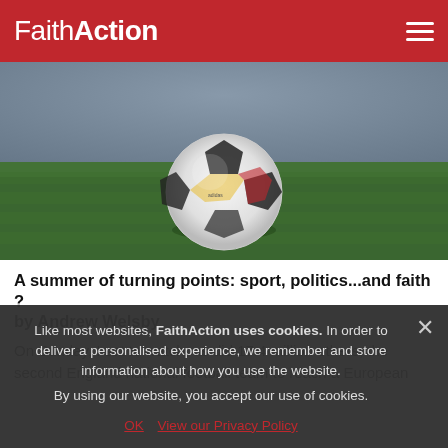FaithAction
[Figure (photo): Close-up of a white Adidas football/soccer ball resting on green grass, with stadium background blurred]
A summer of turning points: sport, politics...and faith ? by Andrew Welsby
On Sunday, I sat to watch, as did 17.4 million others, the second England national football team to reach a European
Like most websites, FaithAction uses cookies. In order to deliver a personalised experience, we remember and store information about how you use the website. By using our website, you accept our use of cookies.
OK   View our Privacy Policy